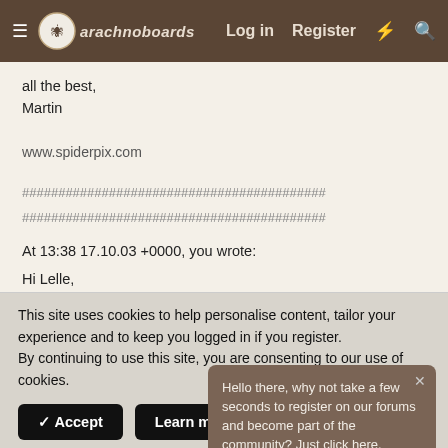arachnoboards — Log in  Register
all the best,
Martin
www.spiderpix.com
##########################################
##########################################
At 13:38 17.10.03 +0000, you wrote:
Hi Lelle,
Hello there, why not take a few seconds to register on our forums and become part of the community? Just click here.
This site uses cookies to help personalise content, tailor your experience and to keep you logged in if you register.
By continuing to use this site, you are consenting to our use of cookies.
✓ Accept
Learn more...